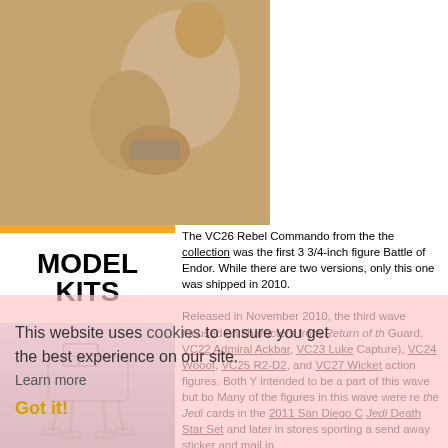[Figure (photo): Darth Maul image with circular logo overlay, dark red and black background]
[Figure (logo): Orange banner with white circular logo featuring stylized letter B or figure-8 symbol]
[Figure (logo): MODEL KITS text logo in bold black on white background]
[Figure (photo): AT-AT Walker sketch/illustration on light blue-gray background]
This website uses cookies to ensure you get the best experience on our site. Learn more
[Figure (photo): Close-up photo of VC26 Rebel Commando action figure holding binoculars]
The VC26 Rebel Commando from the the collection was the first 3 3/4-inch figure Battle of Endor. While there are two versions only this one was shipped in 2010. Released in November 2010, the third wave focused on characters from Return of the Guard, VC22 Admiral Ackbar, VC23 Luke Capture), VC24 Wooof, VC25 R2-D2, and VC27 Wicket action figures. Both Y intended to be a part of this wave but bo Many of the figures in this wave were re the Jedi cards in the 2011 San Diego Co Jedi Death Star Set and later in stores sporting a send away sticker and mail in